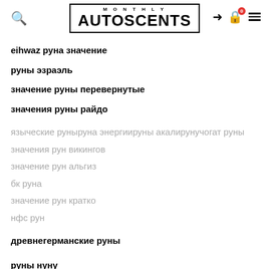[Figure (logo): Monthly AutoScents logo in black border box with MONTHLY in small caps above AUTOSCENTS in bold large font]
eihwaz руна значение
руны эзраэль
значение руны перевернутые
значения руны райдо
языческие руныруна энергиируны акалирунучогат руны
значения рун викингов
значение рун альгиз
бк руна
значение рун кратко
нфс рун
древнегерманские руны
руны нуну